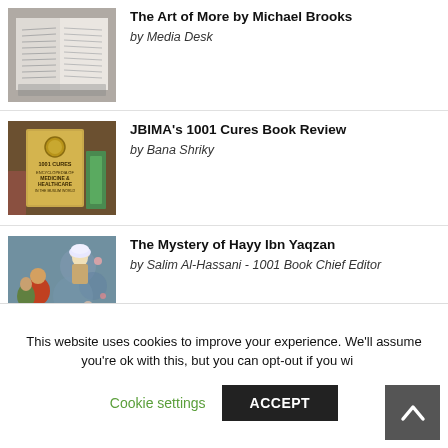The Art of More by Michael Brooks
by Media Desk
JBIMA's 1001 Cures Book Review
by Bana Shriky
The Mystery of Hayy Ibn Yaqzan
by Salim Al-Hassani - 1001 Book Chief Editor
This website uses cookies to improve your experience. We'll assume you're ok with this, but you can opt-out if you wish
Cookie settings    ACCEPT